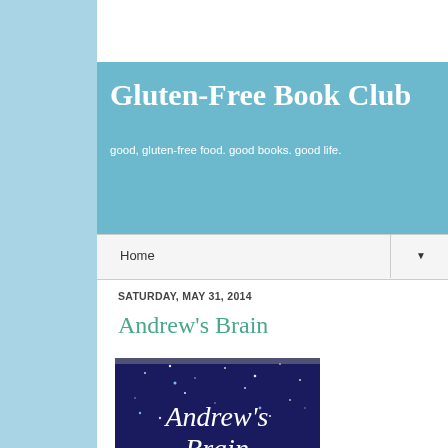Gluten-Free Book Club
good, gluten-free food. good books. good life.
Home ▼
SATURDAY, MAY 31, 2014
Andrew's Brain
[Figure (photo): Book cover of 'Andrew's Brain' - a novel, Large Print edition. Dark blue background with stars, showing text 'Andrew's Brain' and 'a novel' at the bottom.]